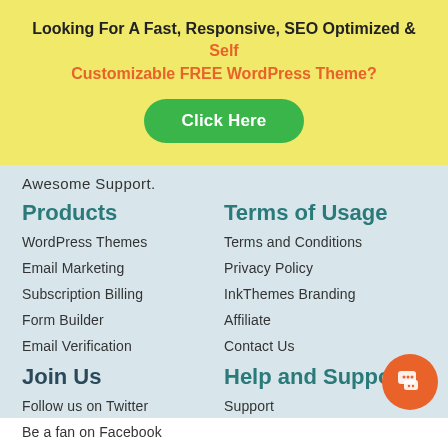Looking For A Fast, Responsive, SEO Optimized & Self Customizable FREE WordPress Theme?
Click Here
Awesome Support.
Products
Terms of Usage
WordPress Themes
Terms and Conditions
Email Marketing
Privacy Policy
Subscription Billing
InkThemes Branding
Form Builder
Affiliate
Email Verification
Contact Us
Join Us
Help and Support
Follow us on Twitter
Support
Be a fan on Facebook